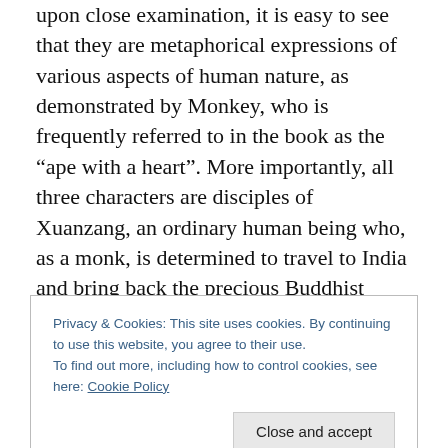upon close examination, it is easy to see that they are metaphorical expressions of various aspects of human nature, as demonstrated by Monkey, who is frequently referred to in the book as the “ape with a heart”. More importantly, all three characters are disciples of Xuanzang, an ordinary human being who, as a monk, is determined to travel to India and bring back the precious Buddhist scriptures. His difficult and dangerous journey may be seen as a spiritual cleansing process, which is the focus of this classic text. All the demons, monsters and evil spirits faced by the monk are symbols of temptations.
Privacy & Cookies: This site uses cookies. By continuing to use this website, you agree to their use.
To find out more, including how to control cookies, see here: Cookie Policy
the world. Instead, we should ask why Chinese martial